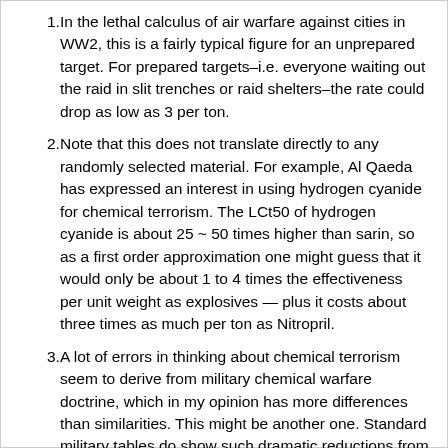In the lethal calculus of air warfare against cities in WW2, this is a fairly typical figure for an unprepared target. For prepared targets–i.e. everyone waiting out the raid in slit trenches or raid shelters–the rate could drop as low as 3 per ton.
Note that this does not translate directly to any randomly selected material. For example, Al Qaeda has expressed an interest in using hydrogen cyanide for chemical terrorism. The LCt50 of hydrogen cyanide is about 25 ~ 50 times higher than sarin, so as a first order approximation one might guess that it would only be about 1 to 4 times the effectiveness per unit weight as explosives — plus it costs about three times as much per ton as Nitropril.
A lot of errors in thinking about chemical terrorism seem to derive from military chemical warfare doctrine, which in my opinion has more differences than similarities. This might be another one. Standard military tables do show such dramatic reductions from wind, but they are designed for estimating effects on a dispersed military unit in a wilderness area. It is far from clear that the same would be the case in a city.